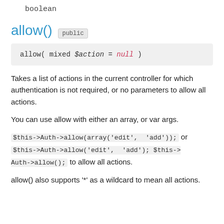boolean
allow()  public
Takes a list of actions in the current controller for which authentication is not required, or no parameters to allow all actions.
You can use allow with either an array, or var args.
$this->Auth->allow(array('edit', 'add')); or $this->Auth->allow('edit', 'add'); $this->Auth->allow(); to allow all actions.
allow() also supports '*' as a wildcard to mean all actions.